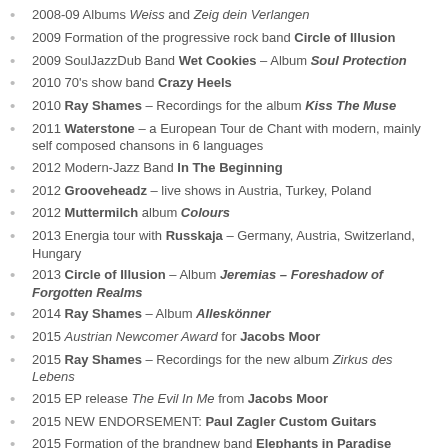2008-09 Albums Weiss and Zeig dein Verlangen
2009 Formation of the progressive rock band Circle of Illusion
2009 SoulJazzDub Band Wet Cookies – Album Soul Protection
2010 70's show band Crazy Heels
2010 Ray Shames – Recordings for the album Kiss The Muse
2011 Waterstone – a European Tour de Chant with modern, mainly self composed chansons in 6 languages
2012 Modern-Jazz Band In The Beginning
2012 Grooveheadz – live shows in Austria, Turkey, Poland
2012 Muttermilch album Colours
2013 Energia tour with Russkaja – Germany, Austria, Switzerland, Hungary
2013 Circle of Illusion – Album Jeremias – Foreshadow of Forgotten Realms
2014 Ray Shames – Album Alleskönner
2015 Austrian Newcomer Award for Jacobs Moor
2015 Ray Shames – Recordings for the new album Zirkus des Lebens
2015 EP release The Evil In Me from Jacobs Moor
2015 NEW ENDORSEMENT: Paul Zagler Custom Guitars
2015 Formation of the brandnew band Elephants in Paradise
2016 Working with Jacobs Moor on new songs for the upcoming LP
2016 LP Zirkus des Lebens Ray Shames will be released in autumn